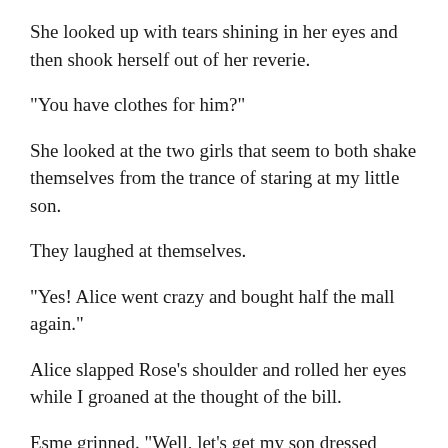She looked up with tears shining in her eyes and then shook herself out of her reverie.
"You have clothes for him?"
She looked at the two girls that seem to both shake themselves from the trance of staring at my little son.
They laughed at themselves.
"Yes! Alice went crazy and bought half the mall again."
Alice slapped Rose's shoulder and rolled her eyes while I groaned at the thought of the bill.
Esme grinned. "Well, let's get my son dressed before he awakes."
I stood back just in case they needed my help or he woke up during the process. I was sure that he was not going to be receptive to all of the attention once he was conscious.